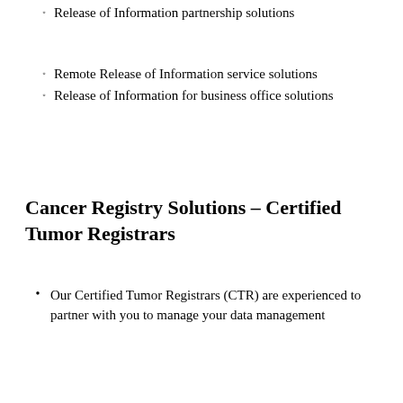Release of Information partnership solutions
Remote Release of Information service solutions
Release of Information for business office solutions
Cancer Registry Solutions – Certified Tumor Registrars
Our Certified Tumor Registrars (CTR) are experienced to partner with you to manage your data management